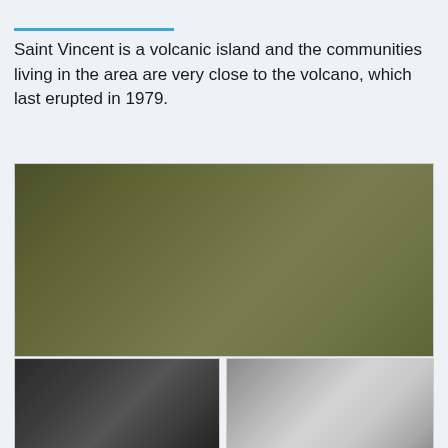Saint Vincent is a volcanic island and the communities living in the area are very close to the volcano, which last erupted in 1979.
[Figure (photo): A large photograph showing a muted olive-green landscape, likely vegetation or terrain on Saint Vincent island.]
[Figure (photo): A dark grey photograph, possibly showing dark volcanic rock or ash.]
[Figure (photo): A light silver-grey photograph, possibly showing lighter volcanic material or landscape.]